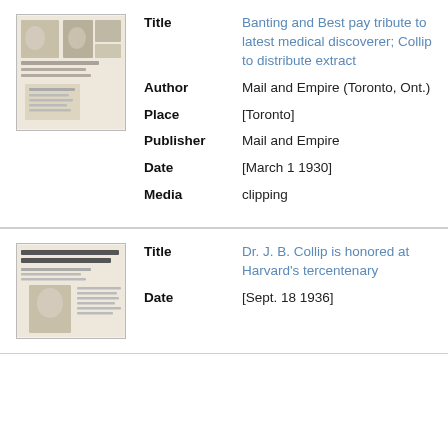[Figure (photo): Thumbnail image of newspaper clipping showing photos and article text about Banting and Best]
| Field | Value |
| --- | --- |
| Title | Banting and Best pay tribute to latest medical discoverer; Collip to distribute extract |
| Author | Mail and Empire (Toronto, Ont.) |
| Place | [Toronto] |
| Publisher | Mail and Empire |
| Date | [March 1 1930] |
| Media | clipping |
[Figure (photo): Thumbnail image of newspaper clipping with headline 'Dr. J. B. Collip is Honored At Harvard's Tercentenary']
| Field | Value |
| --- | --- |
| Title | Dr. J. B. Collip is honored at Harvard's tercentenary |
| Date | [Sept. 18 1936] |